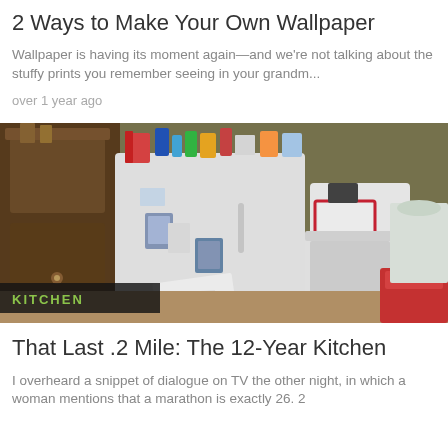2 Ways to Make Your Own Wallpaper
Wallpaper is having its moment again—and we're not talking about the stuffy prints you remember seeing in your grandm...
over 1 year ago
[Figure (photo): Photo of a kitchen with a white refrigerator covered in magnets and photos, a white trash can, and items on top of the fridge. A dark wooden cabinet is visible in the background left. A 'KITCHEN' label appears in green text on a dark overlay at the bottom left.]
That Last .2 Mile: The 12-Year Kitchen
I overheard a snippet of dialogue on TV the other night, in which a woman mentions that a marathon is exactly 26. 2